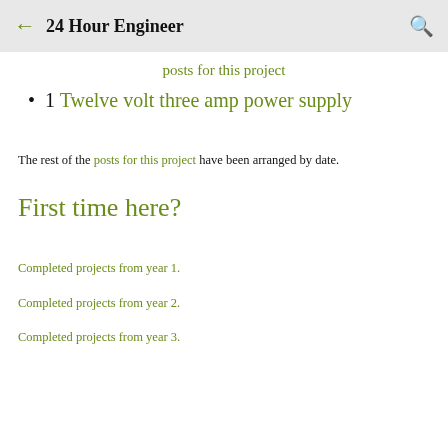← 24 Hour Engineer 🔍
posts for this project (truncated link, green)
1 Twelve volt three amp power supply
The rest of the posts for this project have been arranged by date.
First time here?
Completed projects from year 1.
Completed projects from year 2.
Completed projects from year 3.